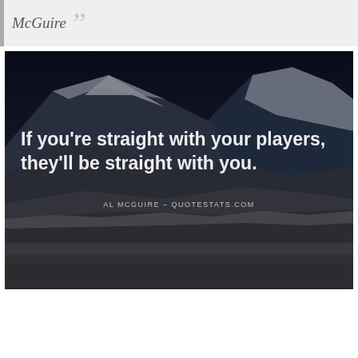McGuire "
[Figure (photo): Dark mountain landscape at night/dusk with snow-capped peaks. Overlaid white text reads: 'If you're straight with your players, they'll be straight with you.' Attribution below in smaller caps: 'AL MCGUIRE – QUOTESTATS.COM']